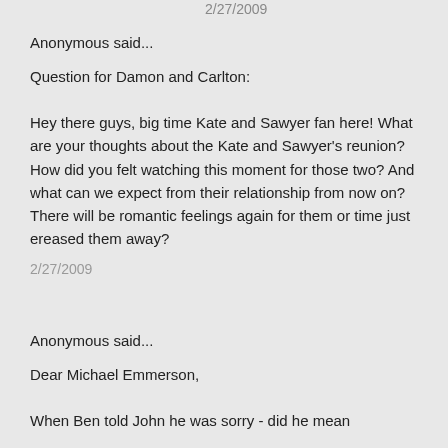2/27/2009
Anonymous said...
Question for Damon and Carlton:

Hey there guys, big time Kate and Sawyer fan here! What are your thoughts about the Kate and Sawyer's reunion? How did you felt watching this moment for those two? And what can we expect from their relationship from now on? There will be romantic feelings again for them or time just ereased them away?
2/27/2009
Anonymous said...
Dear Michael Emmerson,

When Ben told John he was sorry - did he mean